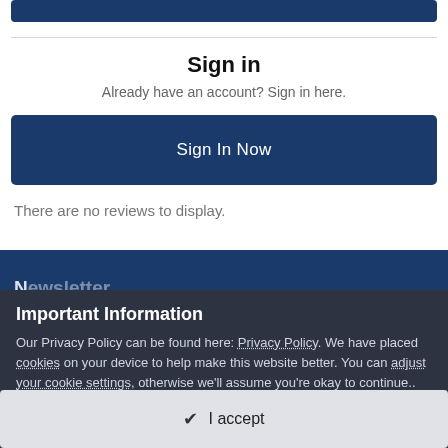[Figure (screenshot): Partial blue button at top of page, cut off]
Sign in
Already have an account? Sign in here.
[Figure (screenshot): Sign In Now button — dark navy rectangle with white text]
There are no reviews to display.
Newsletter (partially visible, cut off)
Important Information
Our Privacy Policy can be found here: Privacy Policy. We have placed cookies on your device to help make this website better. You can adjust your cookie settings, otherwise we'll assume you're okay to continue..
[Figure (screenshot): I accept button — light grey rectangle with checkmark and text]